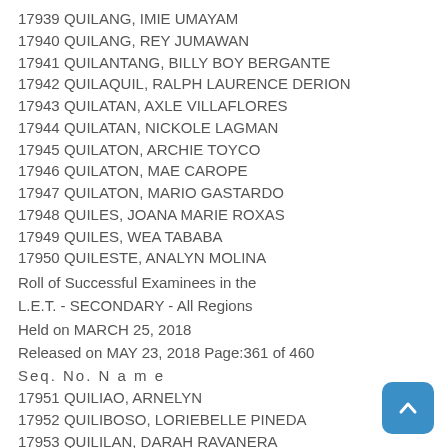17939 QUILANG, IMIE UMAYAM
17940 QUILANG, REY JUMAWAN
17941 QUILANTANG, BILLY BOY BERGANTE
17942 QUILAQUIL, RALPH LAURENCE DERION
17943 QUILATAN, AXLE VILLAFLORES
17944 QUILATAN, NICKOLE LAGMAN
17945 QUILATON, ARCHIE TOYCO
17946 QUILATON, MAE CAROPE
17947 QUILATON, MARIO GASTARDO
17948 QUILES, JOANA MARIE ROXAS
17949 QUILES, WEA TABABA
17950 QUILESTE, ANALYN MOLINA
Roll of Successful Examinees in the
L.E.T. - SECONDARY - All Regions
Held on MARCH 25, 2018
Released on MAY 23, 2018 Page:361 of 460
Seq. No. N a m e
17951 QUILIAO, ARNELYN
17952 QUILIBOSO, LORIEBELLE PINEDA
17953 QUILILAN, DARAH RAVANERA
17954 QUILING, JULIUS AL MARIO